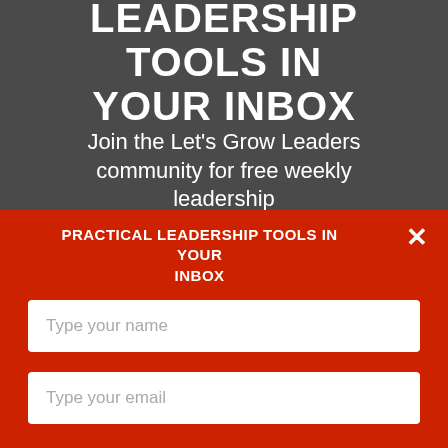LEADERSHIP TOOLS IN YOUR INBOX
Join the Let's Grow Leaders community for free weekly leadership
PRACTICAL LEADERSHIP TOOLS IN YOUR INBOX
Type your name
Type your email
Submit